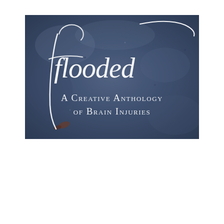[Figure (illustration): Book cover image on a dark blue-grey textured stone background. White cursive/script text reads 'flooded' at the top, with a flowing curved line extending from the letter 'f'. Below in white small-caps serif text: 'A Creative Anthology of Brain Injuries'.]